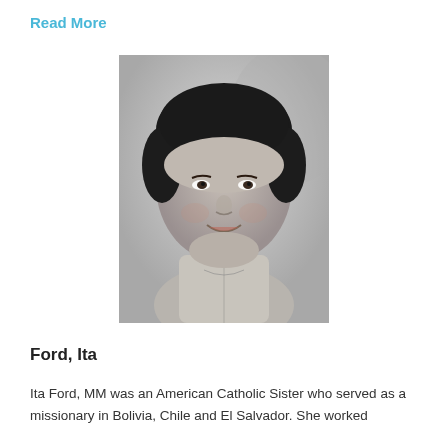Read More
[Figure (photo): Black and white portrait photograph of Ita Ford, a woman with short dark hair, smiling, wearing a light-colored blouse.]
Ford, Ita
Ita Ford, MM was an American Catholic Sister who served as a missionary in Bolivia, Chile and El Salvador. She worked